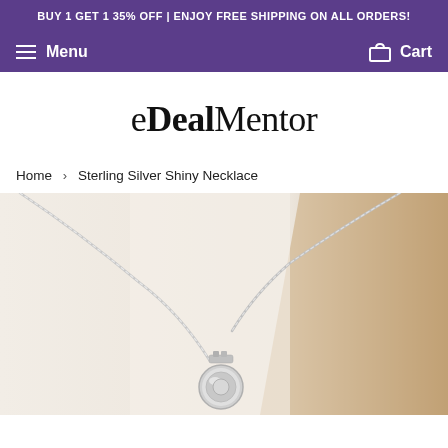BUY 1 GET 1 35% OFF | ENJOY FREE SHIPPING ON ALL ORDERS!
Menu | Cart
eDealMentor
Home › Sterling Silver Shiny Necklace
[Figure (photo): Close-up photo of a sterling silver shiny necklace with a round pendant, displayed against a light cream/beige background]